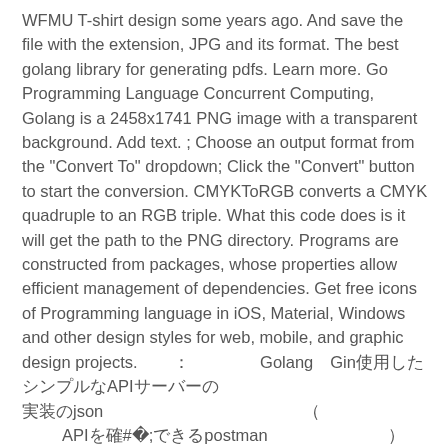WFMU T-shirt design some years ago. And save the file with the extension, JPG and its format. The best golang library for generating pdfs. Learn more. Go Programming Language Concurrent Computing, Golang is a 2458x1741 PNG image with a transparent background. Add text. ; Choose an output format from the "Convert To" dropdown; Click the "Convert" button to start the conversion. CMYKToRGB converts a CMYK quadruple to an RGB triple. What this code does is it will get the path to the PNG directory. Programs are constructed from packages, whose properties allow efficient management of dependencies. Get free icons of Programming language in iOS, Material, Windows and other design styles for web, mobile, and graphic design projects.　　：　　　　GolangのGin使用したシンプルなAPIサーバーの
実装のjson　　　　　　　　　　　　　　　　　　　（
　　APIを確認できるPostman　　　　　　　　　　　　　　　　）
　　GolangのtemplateでビルドしたHTML　　　　　　　　…